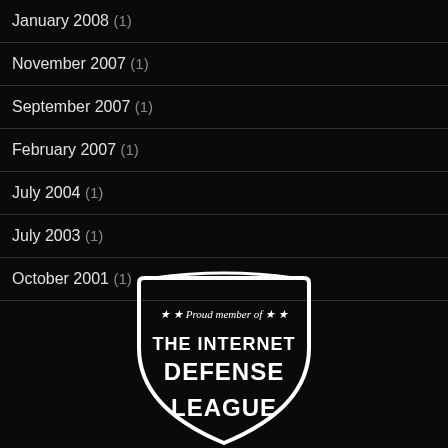January 2008 (1)
November 2007 (1)
September 2007 (1)
February 2007 (1)
July 2004 (1)
July 2003 (1)
October 2001 (1)
[Figure (logo): Shield logo with text 'Proud member of THE INTERNET DEFENSE LEAGUE' with stars]